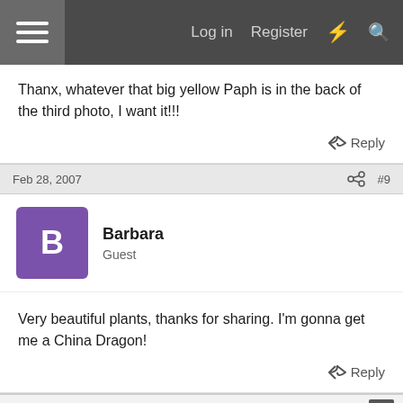Log in  Register
Thanx, whatever that big yellow Paph is in the back of the third photo, I want it!!!
Reply
Feb 28, 2007   #9
Barbara
Guest
Very beautiful plants, thanks for sharing. I'm gonna get me a China Dragon!
Reply
Report Ad